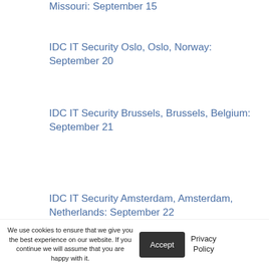SecureWorld St. Louis, St. Louis, Missouri: September 15
IDC IT Security Oslo, Oslo, Norway: September 20
IDC IT Security Brussels, Brussels, Belgium: September 21
IDC IT Security Amsterdam, Amsterdam, Netherlands: September 22
SecureWorld New York, New...
We use cookies to ensure that we give you the best experience on our website. If you continue we will assume that you are happy with it.